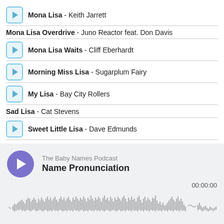Mona Lisa - Keith Jarrett
Mona Lisa Overdrive - Juno Reactor feat. Don Davis
Mona Lisa Waits - Cliff Eberhardt
Morning Miss Lisa - Sugarplum Fairy
My Lisa - Bay City Rollers
Sad Lisa - Cat Stevens
Sweet Little Lisa - Dave Edmunds
[Figure (other): Podcast player widget for 'The Baby Names Podcast - Name Pronunciation' showing a purple play button, waveform visualization, and time 00:00:00]